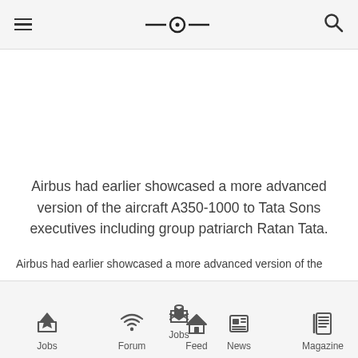Aviation news app header with hamburger menu, logo, and search icon
Airbus had earlier showcased a more advanced version of the aircraft A350-1000 to Tata Sons executives including group patriarch Ratan Tata.
Airbus had earlier showcased a more advanced version of the
Jobs | Forum | Feed | News | Magazine